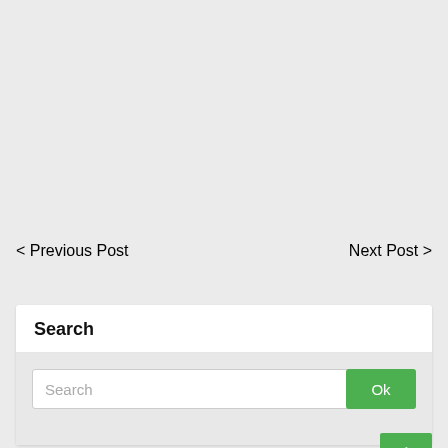< Previous Post
Next Post >
Search
Search
Ok